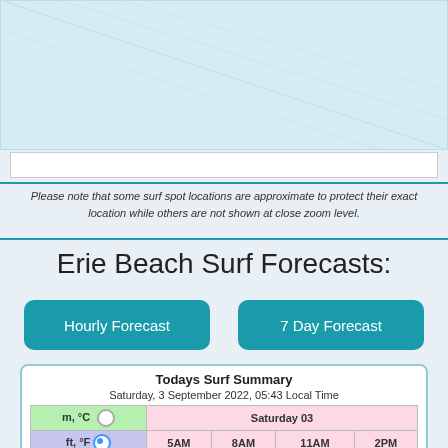[Figure (map): Partial map view showing surf spot location, light blue background with faint diagonal grid lines]
Please note that some surf spot locations are approximate to protect their exact location while others are not shown at close zoom level.
Erie Beach Surf Forecasts:
Hourly Forecast
7 Day Forecast
| m, °C | Saturday 03 |
| --- | --- |
| ft, °F | 5AM | 8AM | 11AM | 2PM |
| Wave (ft) | 1 | 1 | 0.5 | 0.5 |